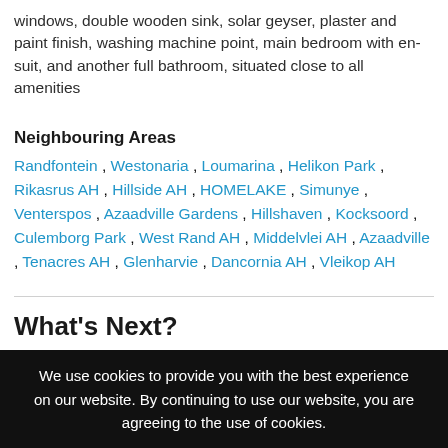windows, double wooden sink, solar geyser, plaster and paint finish, washing machine point, main bedroom with en-suit, and another full bathroom, situated close to all amenities
Neighbouring Areas
Randfontein , Westonaria , Loumarina , Helikon Park , Rikasrus AH , Hillside AH , HOMELAKE , Simunye , Venterspos , Azaadville Gardens , Hillshaven , Kocksoord , Culemborg Park , West Rand AH , Middelvlei AH , Azaadville , Tenacres AH , Glenharvie , Dancornia AH , Vleikop AH
What's Next?
We use cookies to provide you with the best experience on our website. By continuing to use our website, you are agreeing to the use of cookies.